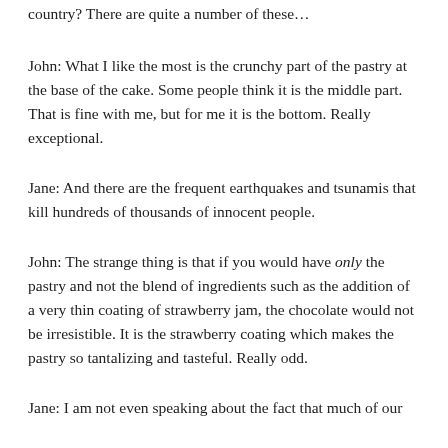country? There are quite a number of these…
John: What I like the most is the crunchy part of the pastry at the base of the cake. Some people think it is the middle part. That is fine with me, but for me it is the bottom. Really exceptional.
Jane: And there are the frequent earthquakes and tsunamis that kill hundreds of thousands of innocent people.
John: The strange thing is that if you would have only the pastry and not the blend of ingredients such as the addition of a very thin coating of strawberry jam, the chocolate would not be irresistible. It is the strawberry coating which makes the pastry so tantalizing and tasteful. Really odd.
Jane: I am not even speaking about the fact that much of our